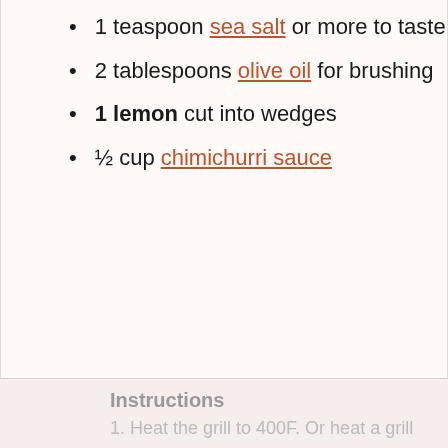1 teaspoon sea salt or more to taste
2 tablespoons olive oil for brushing
1 lemon cut into wedges
½ cup chimichurri sauce
Instructions
1. Heat the grill to 400F. Or heat a grill